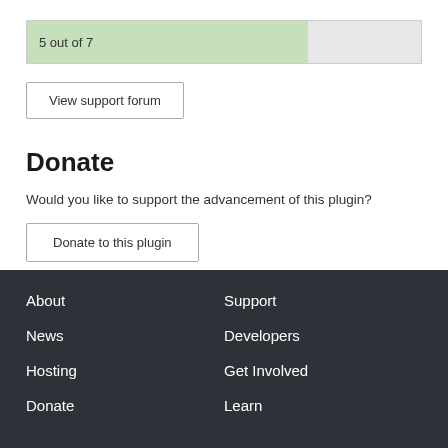[Figure (infographic): Progress bar showing 5 out of 7, approximately 71% filled with light green, remainder light gray]
View support forum
Donate
Would you like to support the advancement of this plugin?
Donate to this plugin
About  Support  News  Developers  Hosting  Get Involved  Donate  Learn